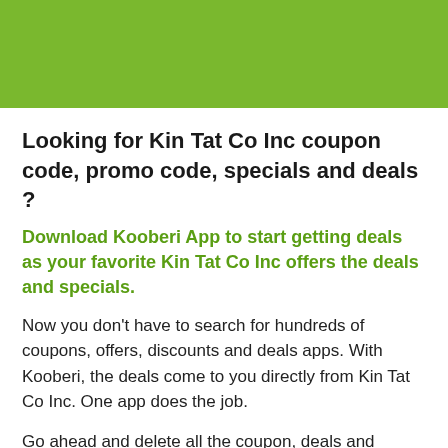[Figure (other): Green banner header with a light grey tab notch at the top]
Looking for Kin Tat Co Inc coupon code, promo code, specials and deals ?
Download Kooberi App to start getting deals as your favorite Kin Tat Co Inc offers the deals and specials.
Now you don't have to search for hundreds of coupons, offers, discounts and deals apps. With Kooberi, the deals come to you directly from Kin Tat Co Inc. One app does the job.
Go ahead and delete all the coupon, deals and discount apps that's taking unnecessary space in your beautiful